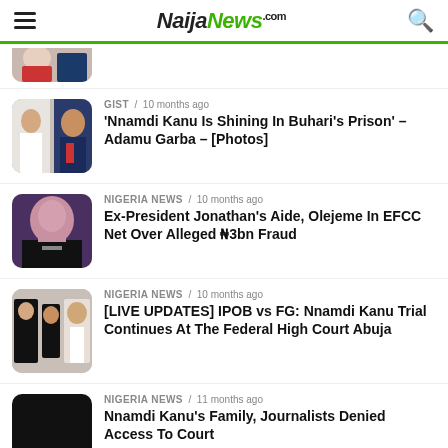NaijaNews.com
[Figure (photo): Partial thumbnail of a news article at top]
GIST / 10 months ago — 'Nnamdi Kanu Is Shining In Buhari's Prison' – Adamu Garba – [Photos]
NIGERIA NEWS / 10 months ago — Ex-President Jonathan's Aide, Olejeme In EFCC Net Over Alleged ₦3bn Fraud
NIGERIA NEWS / 10 months ago — [LIVE UPDATES] IPOB vs FG: Nnamdi Kanu Trial Continues At The Federal High Court Abuja
NIGERIA NEWS / 11 months ago — Nnamdi Kanu's Family, Journalists Denied Access To Court